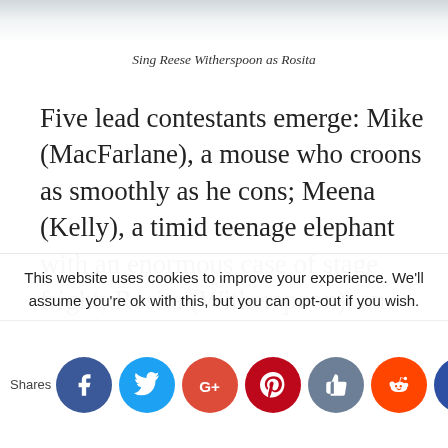[Figure (photo): Top portion of image showing Reese Witherspoon as Rosita from the movie Sing, cropped at bottom]
Sing Reese Witherspoon as Rosita
Five lead contestants emerge: Mike (MacFarlane), a mouse who croons as smoothly as he cons; Meena (Kelly), a timid teenage elephant with an enormous case of stage fright; Rosita (Witherspoon), an overtaxed mother run ragged tending a litter of 25 piglets; Johnny (Egerton), a young gangster gorilla looking to
This website uses cookies to improve your experience. We'll assume you're ok with this, but you can opt-out if you wish.
Shares [Facebook] [Twitter] [Google+] [Pinterest] [Like] [Reddit] [Crown]